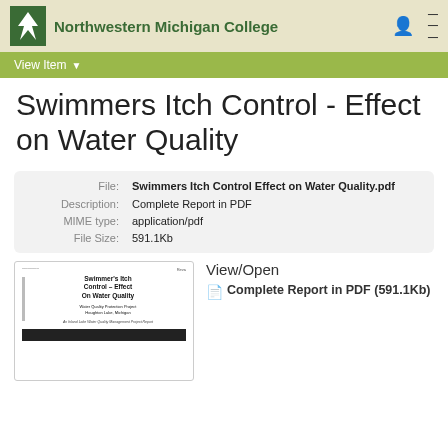Northwestern Michigan College
View Item
Swimmers Itch Control - Effect on Water Quality
| Field | Value |
| --- | --- |
| File: | Swimmers Itch Control Effect on Water Quality.pdf |
| Description: | Complete Report in PDF |
| MIME type: | application/pdf |
| File Size: | 591.1Kb |
[Figure (other): Thumbnail preview of document cover page showing title Swimmer's Itch Control - Effect On Water Quality, Water Quality Protection Project, Houghton Lake, Michigan]
View/Open
 Complete Report in PDF (591.1Kb)